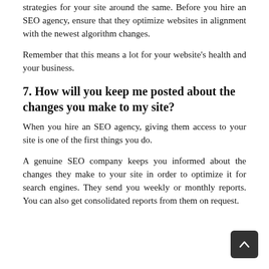strategies for your site around the same. Before you hire an SEO agency, ensure that they optimize websites in alignment with the newest algorithm changes.
Remember that this means a lot for your website's health and your business.
7. How will you keep me posted about the changes you make to my site?
When you hire an SEO agency, giving them access to your site is one of the first things you do.
A genuine SEO company keeps you informed about the changes they make to your site in order to optimize it for search engines. They send you weekly or monthly reports. You can also get consolidated reports from them on request.